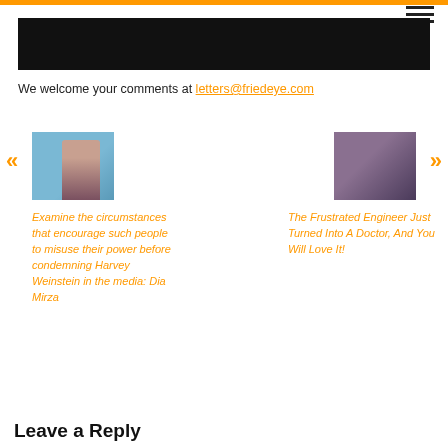[Figure (photo): Dark hero image banner at top of page]
We welcome your comments at letters@friedeye.com
[Figure (photo): Thumbnail photo of a woman (Dia Mirza) for left article]
Examine the circumstances that encourage such people to misuse their power before condemning Harvey Weinstein in the media: Dia Mirza
[Figure (photo): Thumbnail photo of a man smiling for right article]
The Frustrated Engineer Just Turned Into A Doctor, And You Will Love It!
Leave a Reply